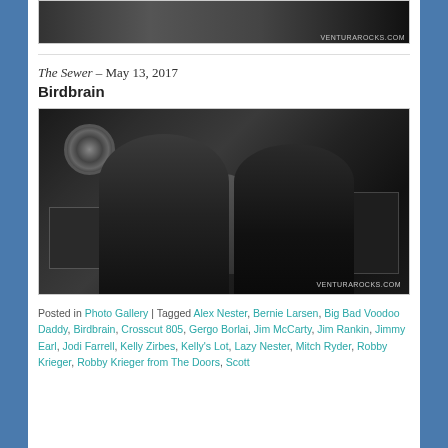[Figure (photo): Top portion of a concert/band photo, partially visible at the top of the page with VenturaROCKS.com watermark]
The Sewer – May 13, 2017
Birdbrain
[Figure (photo): Black and white photo of the band Birdbrain performing at The Sewer on May 13, 2017. Two guitarists in foreground, drummer visible in background, Marshall amplifiers on stage, dartboard on wall. VenturaROCKS.com watermark.]
Posted in Photo Gallery | Tagged Alex Nester, Bernie Larsen, Big Bad Voodoo Daddy, Birdbrain, Crosscut 805, Gergo Borlai, Jim McCarty, Jim Rankin, Jimmy Earl, Jodi Farrell, Kelly Zirbes, Kelly's Lot, Lazy Nester, Mitch Ryder, Robby Krieger, Robby Krieger from The Doors, Scott